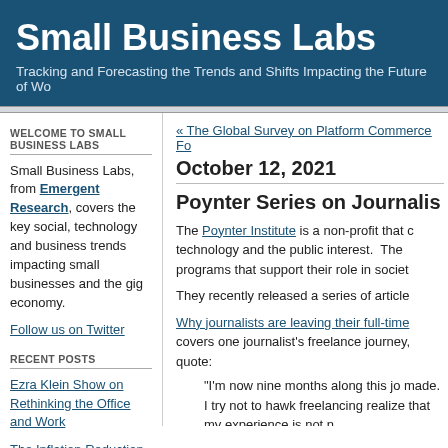Small Business Labs
Tracking and Forecasting the Trends and Shifts Impacting the Future of Wo...
WELCOME TO SMALL BUSINESS LABS
Small Business Labs, from Emergent Research, covers the key social, technology and business trends impacting small businesses and the gig economy.
Follow us on Twitter
RECENT POSTS
Ezra Klein Show on Rethinking the Office and Work
The Inflation Reduction Act
« The Global Survey on Platform Commerce Fo...
October 12, 2021
Poynter Series on Journalis...
The Poynter Institute is a non-profit that covers technology and the public interest. They programs that support their role in societ...
They recently released a series of article...
Why journalists are leaving their full-time... covers one journalist's freelance journey, quote:
"I'm now nine months along this jo... made. I try not to hawk freelancing... realize that my experience is not n...